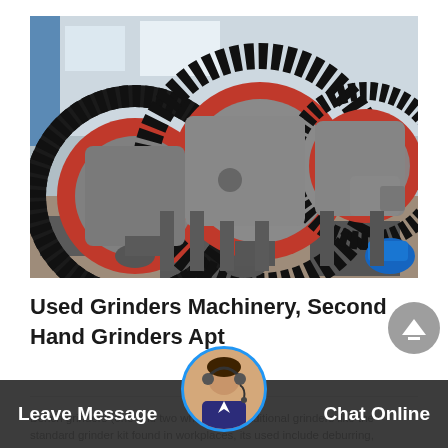[Figure (photo): Industrial ball mill grinding machines with large black gear rings and red accents, photographed in a factory/warehouse setting with blue structural elements in the background.]
Used Grinders Machinery, Second Hand Grinders Apt
Bench grinders (one and two wheel) and traditional grinders like the standard grinder kit found in workplaces, its used include deburring, planning, sharpening,